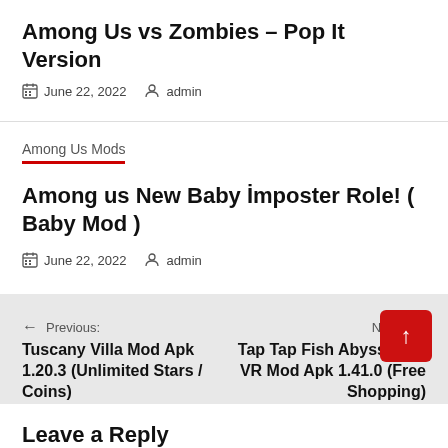Among Us vs Zombies – Pop It Version
June 22, 2022   admin
Among Us Mods
Among us New Baby İmposter Role! ( Baby Mod )
June 22, 2022   admin
← Previous: Tuscany Villa Mod Apk 1.20.3 (Unlimited Stars / Coins)
Next: → Tap Tap Fish AbyssRium VR Mod Apk 1.41.0 (Free Shopping)
Leave a Reply